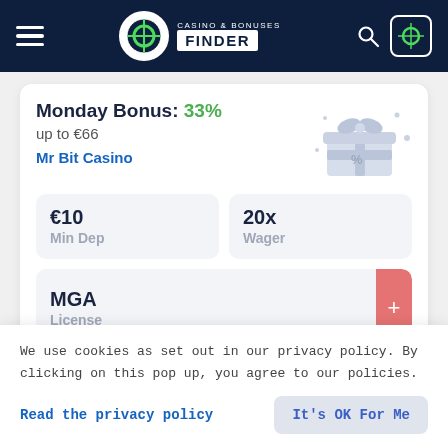Casino & Bonuses Finder
Monday Bonus: 33% up to €66
Mr Bit Casino
| €10 Min Dep | 20x Wager |
| --- | --- |
MGA License
GET BONUS
We use cookies as set out in our privacy policy. By clicking on this pop up, you agree to our policies.
Read the privacy policy
It's OK For Me